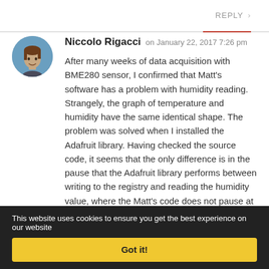REPLY >
Niccolo Rigacci  on January 22, 2017 7:26 pm
After many weeks of data acquisition with BME280 sensor, I confirmed that Matt’s software has a problem with humidity reading. Strangely, the graph of temperature and humidity have the same identical shape. The problem was solved when I installed the Adafruit library. Having checked the source code, it seems that the only difference is in the pause that the Adafruit library performs between writing to the registry and reading the humidity value, where the Matt’s code does not pause at all. From BME datasheet, Appendix B “Measurement time and current calculation” it seems indeed that a pause is required.
This website uses cookies to ensure you get the best experience on our website
Got it!